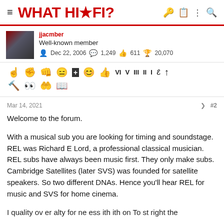WHAT HI·FI?
jjacmber
Well-known member
Dec 22, 2006  1,249  611  20,070
[Figure (screenshot): Row of reaction/emoji icons for forum post interactions]
Mar 14, 2021  #2
Welcome to the forum.

With a musical sub you are looking for timing and soundstage. REL was Richard E Lord, a professional classical musician. REL subs have always been music first. They only make subs. Cambridge Satellites (later SVS) was founded for satellite speakers. So two different DNAs. Hence you'll hear REL for music and SVS for home cinema.